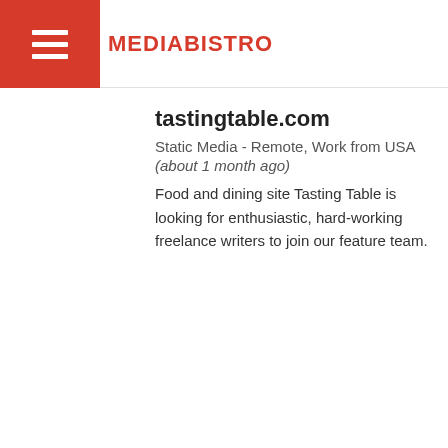MEDIABISTRO
tastingtable.com
Static Media - Remote, Work from USA
(about 1 month ago)
Food and dining site Tasting Table is looking for enthusiastic, hard-working freelance writers to join our feature team.
MANAGING EDITOR, POLITICS
Fox Corporation - USA Remote (about 1 month ago)
Fox News Digital is looking for a Managing Editor, Politics to join our team in leading our political coverage across FoxNews.com &amp; FoxBusiness...
[Figure (logo): FOX logo in blue italic bold text]
[Figure (other): reCAPTCHA privacy badge with spinning arrow icon and Privacy - Terms text]